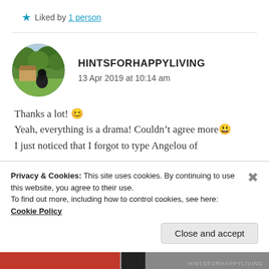★ Liked by 1 person
[Figure (photo): Circular avatar photo showing a person with dark hair seen from behind, standing in a green outdoor/orchard setting]
HINTSFORHAPPYLIVING
13 Apr 2019 at 10:14 am
Thanks a lot! 😊
Yeah, everything is a drama! Couldn't agree more 😄
I just noticed that I forgot to type Angelou of
Privacy & Cookies: This site uses cookies. By continuing to use this website, you agree to their use.
To find out more, including how to control cookies, see here: Cookie Policy
Close and accept